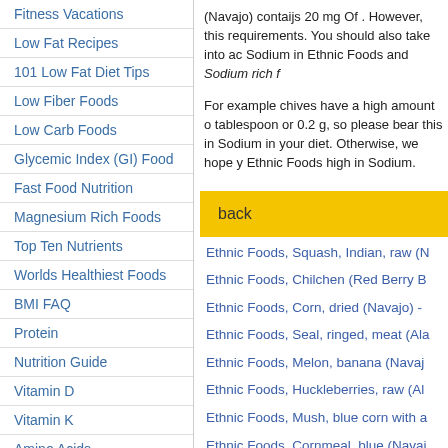Fitness Vacations
Low Fat Recipes
101 Low Fat Diet Tips
Low Fiber Foods
Low Carb Foods
Glycemic Index (GI) Food
Fast Food Nutrition
Magnesium Rich Foods
Top Ten Nutrients
Worlds Healthiest Foods
BMI FAQ
Protein
Nutrition Guide
Vitamin D
Vitamin K
Amino Acids
Body Frame Calculator
Body Mass Index (BMI)
Body Mass Index (BMI) FAQ
(Navajo) contaijs 20 mg Of . However, this requirements. You should also take into ac Sodium in Ethnic Foods and Sodium rich f
For example chives have a high amount o tablespoon or 0.2 g, so please bear this in Sodium in your diet. Otherwise, we hope y Ethnic Foods high in Sodium.
back
Ethnic Foods, Squash, Indian, raw (N
Ethnic Foods, Chilchen (Red Berry B
Ethnic Foods, Corn, dried (Navajo) -
Ethnic Foods, Seal, ringed, meat (Ala
Ethnic Foods, Melon, banana (Navaj
Ethnic Foods, Huckleberries, raw (Al
Ethnic Foods, Mush, blue corn with a
Ethnic Foods, Cornmeal, blue (Navaj
Ethnic Foods, Corn, white, steamed (
Ethnic Foods, Cornmeal, white (Nava
Ethnic Foods, Cornmeal, yellow (Nla